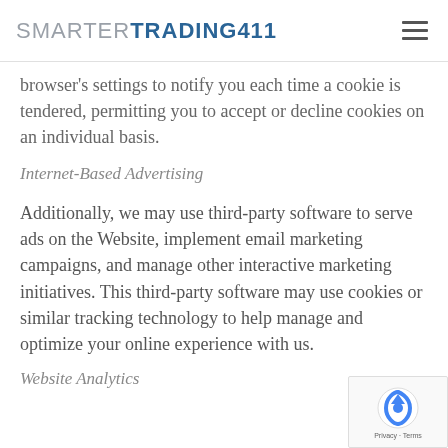SMARTER TRADING 411
browser's settings to notify you each time a cookie is tendered, permitting you to accept or decline cookies on an individual basis.
Internet-Based Advertising
Additionally, we may use third-party software to serve ads on the Website, implement email marketing campaigns, and manage other interactive marketing initiatives. This third-party software may use cookies or similar tracking technology to help manage and optimize your online experience with us.
Website Analytics